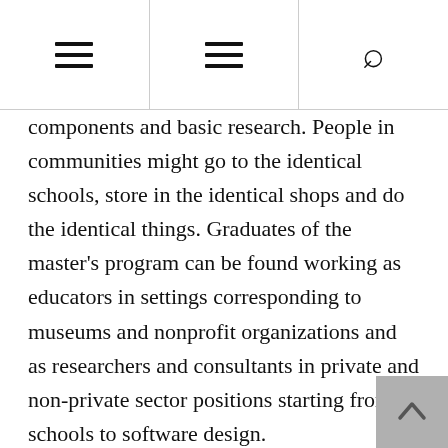≡  ≡  🔍
components and basic research. People in communities might go to the identical schools, store in the identical shops and do the identical things. Graduates of the master's program can be found working as educators in settings corresponding to museums and nonprofit organizations and as researchers and consultants in private and non-private sector positions starting from schools to software design.
conclusion
Students be taught to advance the understanding and follow of educating and studying in formal and casual